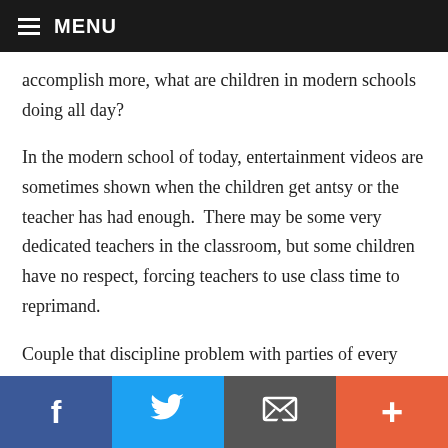MENU
accomplish more, what are children in modern schools doing all day?
In the modern school of today, entertainment videos are sometimes shown when the children get antsy or the teacher has had enough.  There may be some very dedicated teachers in the classroom, but some children have no respect, forcing teachers to use class time to reprimand.
Couple that discipline problem with parties of every